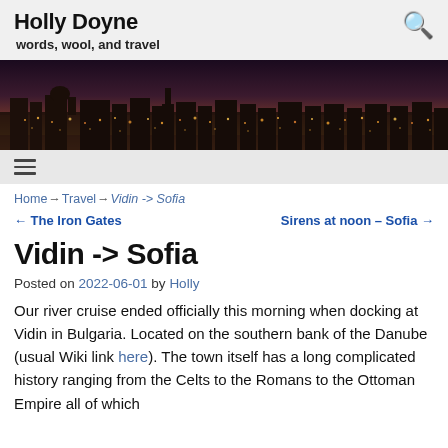Holly Doyne
words, wool, and travel
[Figure (photo): Nighttime cityscape photo showing illuminated buildings and city lights against a dark dusk sky, used as a hero banner image for the Holly Doyne travel blog.]
☰ (hamburger menu)
Home → Travel → Vidin -> Sofia
← The Iron Gates    Sirens at noon – Sofia →
Vidin -> Sofia
Posted on 2022-06-01 by Holly
Our river cruise ended officially this morning when docking at Vidin in Bulgaria. Located on the southern bank of the Danube (usual Wiki link here). The town itself has a long complicated history ranging from the Celts to the Romans to the Ottoman Empire all of which